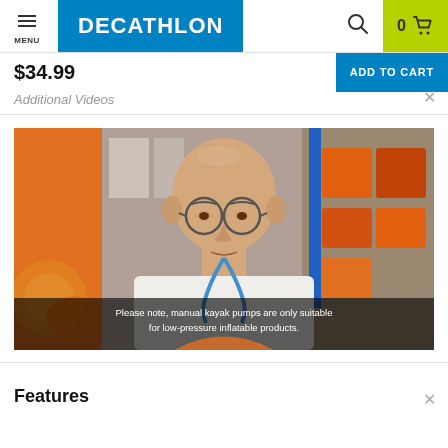MENU | DECATHLON | 0 (cart)
$34.99
ADD TO CART
Additional Videos
[Figure (photo): A bald man with glasses wearing a white shirt with a blue lanyard, standing in a Decathlon store with orange sports equipment on shelves behind him. Video subtitle reads: Please note, manual kayak pumps are only suitable for low-pressure inflatable products.]
Please note, manual kayak pumps are only suitable for low-pressure inflatable products.
Features